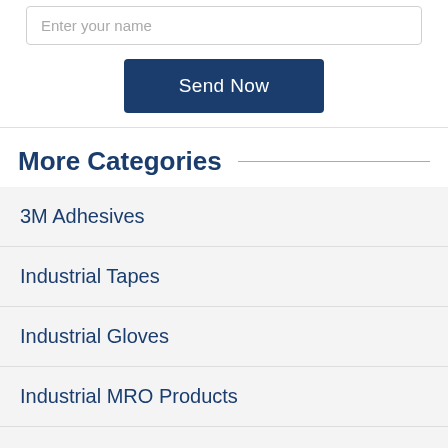Enter your name
Send Now
More Categories
3M Adhesives
Industrial Tapes
Industrial Gloves
Industrial MRO Products
Knitted Gloves
Pneumatic Tools
View all Categories